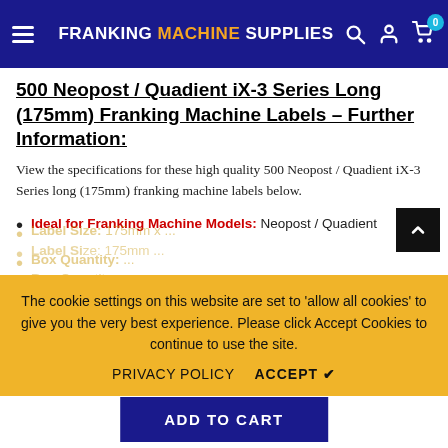FRANKING MACHINE SUPPLIES
500 Neopost / Quadient iX-3 Series Long (175mm) Franking Machine Labels – Further Information:
View the specifications for these high quality 500 Neopost / Quadient iX-3 Series long (175mm) franking machine labels below.
Ideal for Franking Machine Models: Neopost / Quadient iX-3 Series
Label Size: 175mm x ...
Box Quantity: ...
The cookie settings on this website are set to 'allow all cookies' to give you the very best experience. Please click Accept Cookies to continue to use the site.
PRIVACY POLICY  ACCEPT ✔